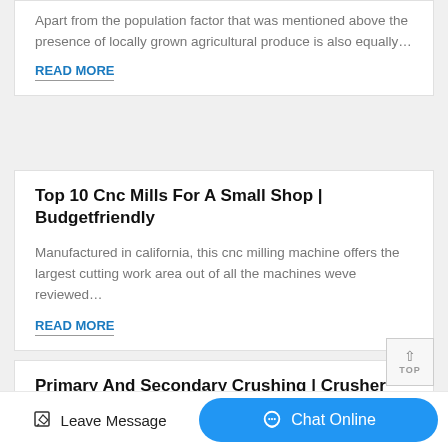Apart from the population factor that was mentioned above the presence of locally grown agricultural produce is also equally…
READ MORE
Top 10 Cnc Mills For A Small Shop | Budgetfriendly
Manufactured in california, this cnc milling machine offers the largest cutting work area out of all the machines weve reviewed…
READ MORE
Primary And Secondary Crushing | Crusher Mills, Cone
Leave Message
Chat Online